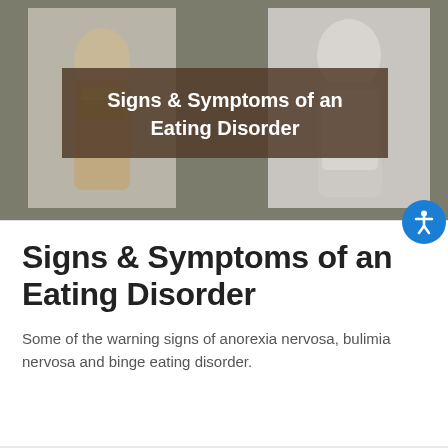[Figure (photo): Hero banner image showing two people with eating disorder themes, overlaid with a dark brown semi-transparent box containing the title text 'Signs & Symptoms of an Eating Disorder']
Signs & Symptoms of an Eating Disorder
Some of the warning signs of anorexia nervosa, bulimia nervosa and binge eating disorder.